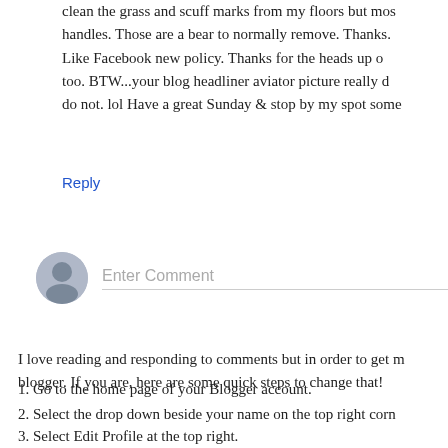clean the grass and scuff marks from my floors but most of the handles. Those are a bear to normally remove. Thanks. Like Facebook new policy. Thanks for the heads up on that too. BTW...your blog headliner aviator picture really do do not. lol Have a great Sunday & stop by my spot some
Reply
[Figure (illustration): User avatar circle icon for comment input area]
Enter Comment
I love reading and responding to comments but in order to get my blogger. If you are, here are some quick steps to change that!
1. Go to the home page of your Blogger account.
2. Select the drop down beside your name on the top right corne
3. Select Edit Profile at the top right.